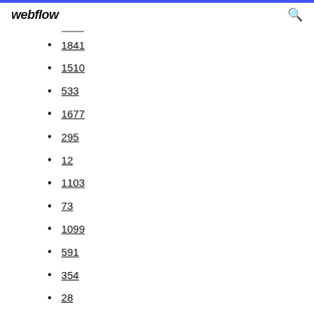webflow
1841
1510
533
1677
295
12
1103
73
1099
591
354
28